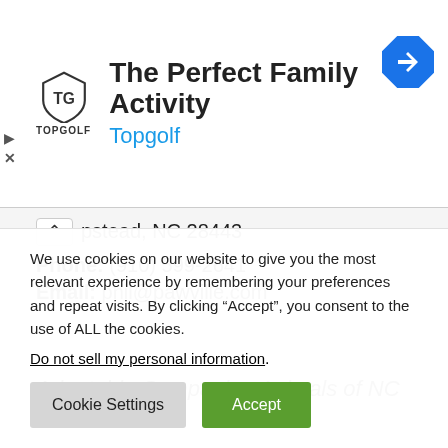[Figure (logo): Topgolf advertisement banner with shield logo, Topgolf wordmark in blue, headline 'The Perfect Family Activity', and blue navigation diamond icon]
pstead, NC 28443
Phone: (910) 599-2641
Email: phil@pawville.com
Adoptable Companion Animals of NC
We use cookies on our website to give you the most relevant experience by remembering your preferences and repeat visits. By clicking “Accept”, you consent to the use of ALL the cookies.
Do not sell my personal information.
Cookie Settings  Accept